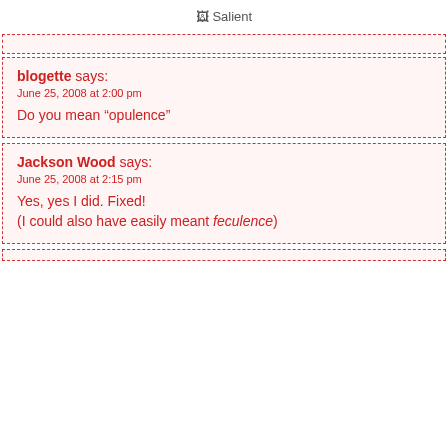Salient
blogette says:
June 25, 2008 at 2:00 pm
Do you mean “opulence”
Jackson Wood says:
June 25, 2008 at 2:15 pm
Yes, yes I did. Fixed!
(I could also have easily meant feculence)